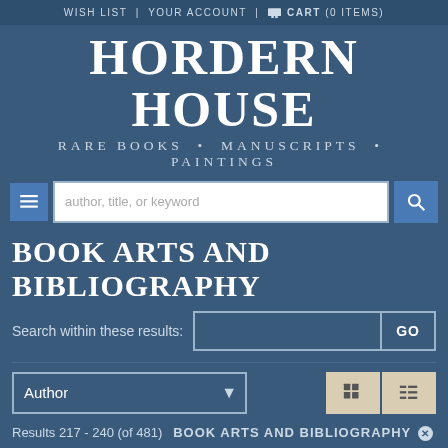WISH LIST | YOUR ACCOUNT | CART (0 ITEMS)
HORDERN HOUSE
RARE BOOKS • MANUSCRIPTS • PAINTINGS
BOOK ARTS AND BIBLIOGRAPHY
Search within these results:
Author
Results 217 - 240 (of 481)  BOOK ARTS AND BIBLIOGRAPHY
[Figure (screenshot): Bottom portion showing a book thumbnail preview area with white background and dark border]